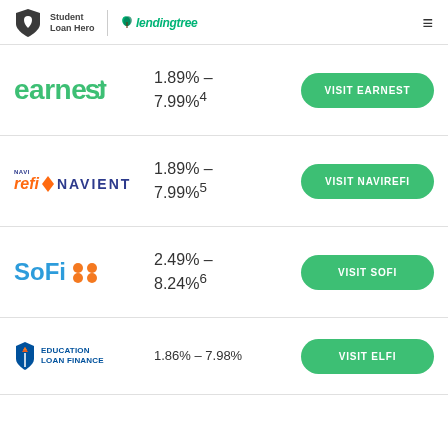Student Loan Hero | lendingtree
[Figure (logo): Earnest logo in green text]
1.89% – 7.99%4
VISIT EARNEST
[Figure (logo): NaviRefi by Navient logo]
1.89% – 7.99%5
VISIT NAVIREFI
[Figure (logo): SoFi logo in blue]
2.49% – 8.24%6
VISIT SOFI
[Figure (logo): Education Loan Finance logo]
1.86% – 7.98%
VISIT ELFI